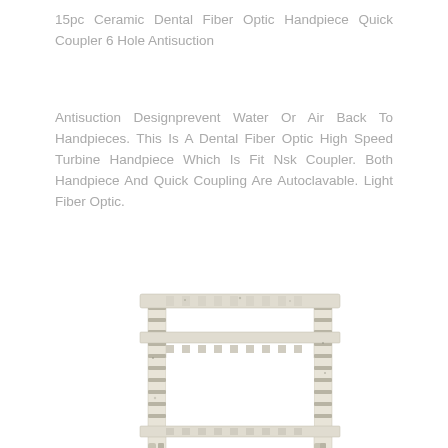15pc Ceramic Dental Fiber Optic Handpiece Quick Coupler 6 Hole Antisuction
Antisuction Designprevent Water Or Air Back To Handpieces. This Is A Dental Fiber Optic High Speed Turbine Handpiece Which Is Fit Nsk Coupler. Both Handpiece And Quick Coupling Are Autoclavable. Light Fiber Optic.
[Figure (photo): A whitewashed/distressed wood bunk bed frame photographed against a white background. The frame has ladder rungs on the sides and slatted sections visible.]